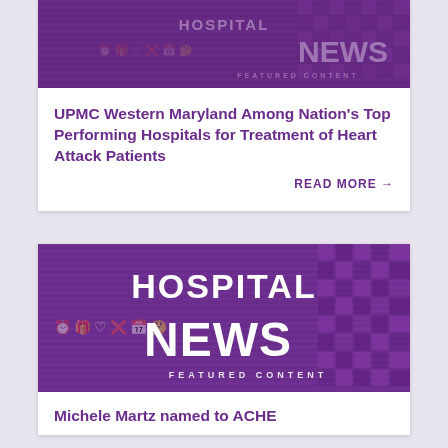[Figure (logo): Hospital News Featured Content banner logo with purple pixelated background, icons row, and large white text]
UPMC Western Maryland Among Nation’s Top Performing Hospitals for Treatment of Heart Attack Patients
READ MORE →
[Figure (logo): Hospital News Featured Content banner logo with purple pixelated background, large HOSPITAL text and NEWS text with icons row]
Michele Martz named to ACHE